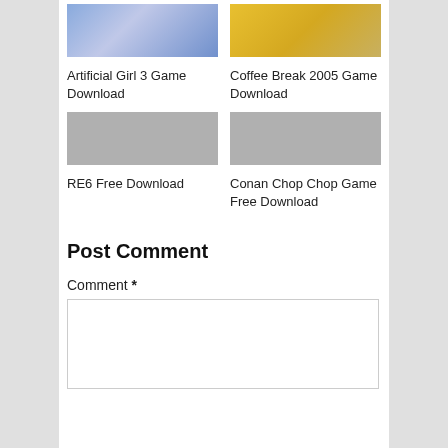[Figure (illustration): Anime girl illustration thumbnail for Artificial Girl 3 Game Download]
[Figure (photo): Coffee cup with COFFEE text thumbnail for Coffee Break 2005 Game Download]
Artificial Girl 3 Game Download
Coffee Break 2005 Game Download
[Figure (illustration): Blank/grey placeholder thumbnail for RE6 Free Download]
[Figure (illustration): Blank/grey placeholder thumbnail for Conan Chop Chop Game Free Download]
RE6 Free Download
Conan Chop Chop Game Free Download
Post Comment
Comment *